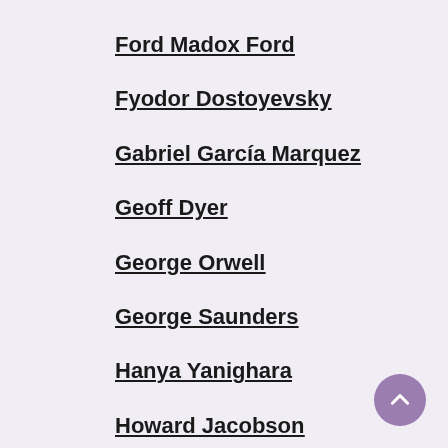Ford Madox Ford
Fyodor Dostoyevsky
Gabriel García Marquez
Geoff Dyer
George Orwell
George Saunders
Hanya Yanighara
Howard Jacobson
Iris Murdoch
J D Sali...